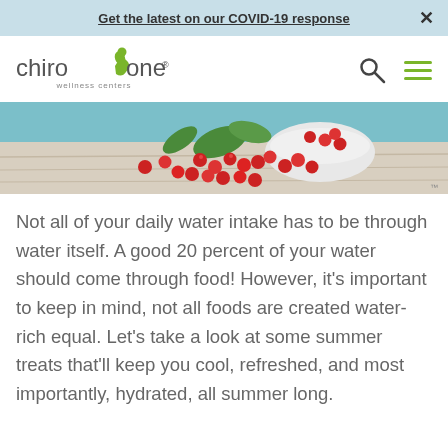Get the latest on our COVID-19 response  ×
[Figure (logo): Chiro One Wellness Centers logo with green figure and text]
[Figure (photo): Overhead photo of red berries/cherries spilling from a white bowl on a light wooden surface with green leaves]
Not all of your daily water intake has to be through water itself. A good 20 percent of your water should come through food! However, it's important to keep in mind, not all foods are created water-rich equal. Let's take a look at some summer treats that'll keep you cool, refreshed, and most importantly, hydrated, all summer long.